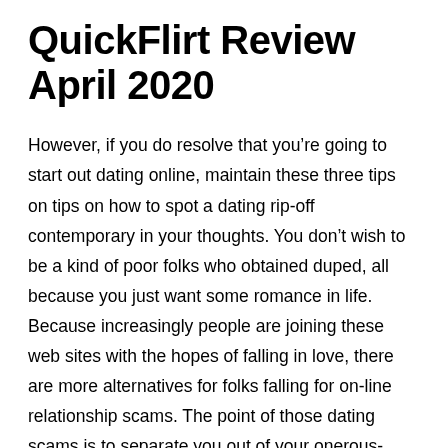QuickFlirt Review April 2020
However, if you do resolve that you’re going to start out dating online, maintain these three tips on tips on how to spot a dating rip-off contemporary in your thoughts. You don’t wish to be a kind of poor folks who obtained duped, all because you just want some romance in life. Because increasingly people are joining these web sites with the hopes of falling in love, there are more alternatives for folks falling for on-line relationship scams. The point of those dating scams is to separate you out of your onerous-earned cash.